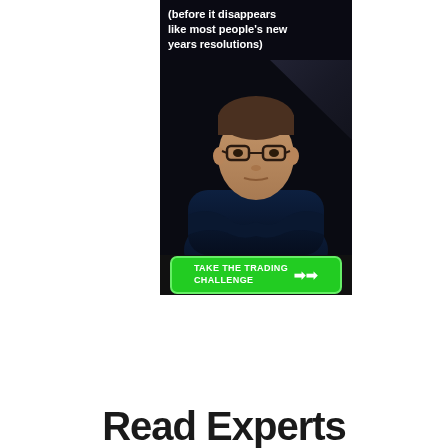[Figure (infographic): Advertisement banner showing a man in dark navy sweater with glasses, arms crossed, against a dark background. Text overlay reads '(before it disappears like most people's new years resolutions)'. A green call-to-action button at the bottom reads 'TAKE THE TRADING CHALLENGE' with an arrow icon.]
Read Experts